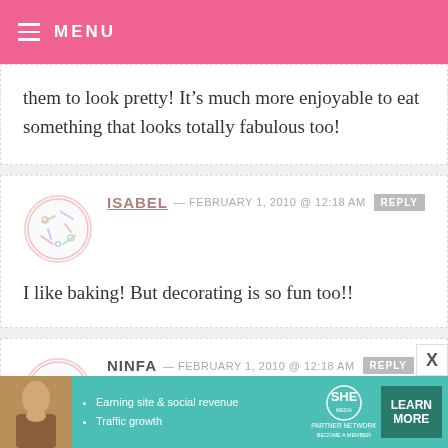MENU
them to look pretty! It’s much more enjoyable to eat something that looks totally fabulous too!
ISABEL — FEBRUARY 1, 2010 @ 12:18 AM   REPLY
I like baking! But decorating is so fun too!!
NINFA — FEBRUARY 1, 2010 @ 12:18 AM   REPLY
[Figure (illustration): Advertisement banner for SHE Partner Network featuring a woman, bullet points about earning site & social revenue and traffic growth, SHE logo, and a Learn More button]